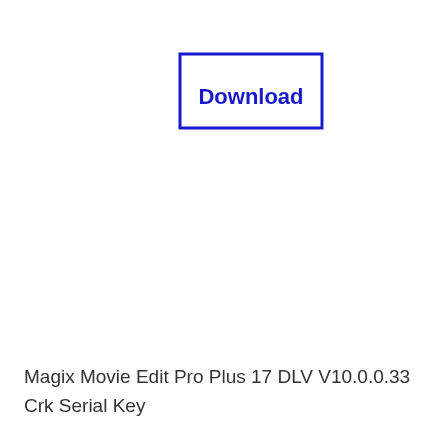[Figure (other): A rectangular button/badge with a blue border outline and bold blue text reading 'Download' centered inside it]
Magix Movie Edit Pro Plus 17 DLV V10.0.0.33 Crk Serial Key